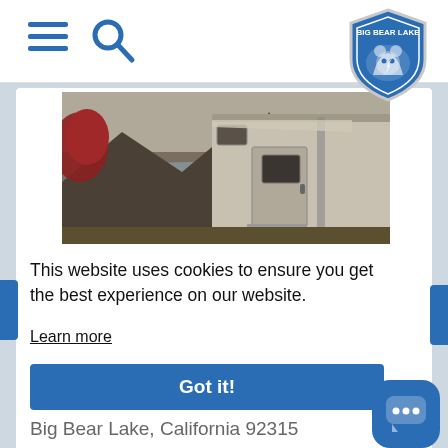Big Bear Lake navigation header with hamburger menu, search icon, and Big Bear Lake logo badge
[Figure (photo): An RV/camper parked near a lake with mountains and red foliage in the background, black and white with some color tones]
This website uses cookies to ensure you get the best experience on our website.
Learn more
Got it!
Big Bear Lake, California 92315